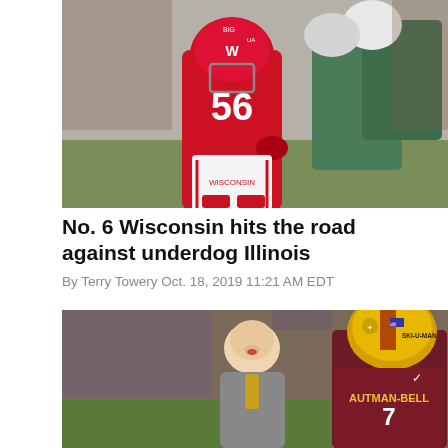[Figure (photo): Wisconsin Badgers football player wearing red #56 jersey running with the ball, with Michigan State defenders in the background]
No. 6 Wisconsin hits the road against underdog Illinois
By Terry Towery Oct. 18, 2019 11:21 AM EDT
[Figure (photo): Minnesota football coach talking to player wearing maroon jersey #7 AUTMAN-BELL with gold helmet that reads SKI-U-MAH]